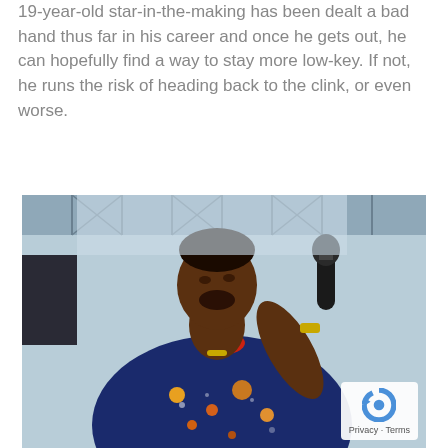19-year-old star-in-the-making has been dealt a bad hand thus far in his career and once he gets out, he can hopefully find a way to stay more low-key. If not, he runs the risk of heading back to the clink, or even worse.
[Figure (photo): Young male rapper performing on stage holding a microphone, wearing a navy blue space/galaxy print polo shirt with red trim and gold jewelry, open-mouthed singing expression, stage scaffolding visible in background]